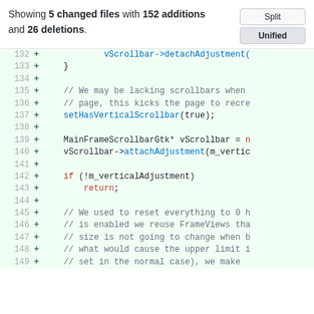Showing 5 changed files with 152 additions and 26 deletions.
[Figure (screenshot): Split / Unified toggle buttons]
| line | op | code |
| --- | --- | --- |
| 132 | + |             vScrollbar->detachAdjustment( |
| 133 | + |     } |
| 134 | + |  |
| 135 | + |     // We may be lacking scrollbars when |
| 136 | + |     // page, this kicks the page to recre |
| 137 | + |     setHasVerticalScrollbar(true); |
| 138 | + |  |
| 139 | + |     MainFrameScrollbarGtk* vScrollbar = n |
| 140 | + |     vScrollbar->attachAdjustment(m_vertic |
| 141 | + |  |
| 142 | + |     if (!m_verticalAdjustment) |
| 143 | + |         return; |
| 144 | + |  |
| 145 | + |     // We used to reset everything to 0 h |
| 146 | + |     // is enabled we reuse FrameViews tha |
| 147 | + |     // size is not going to change when b |
| 148 | + |     // what would cause the upper limit i |
| 149 | + |     // set in the normal case), we make |